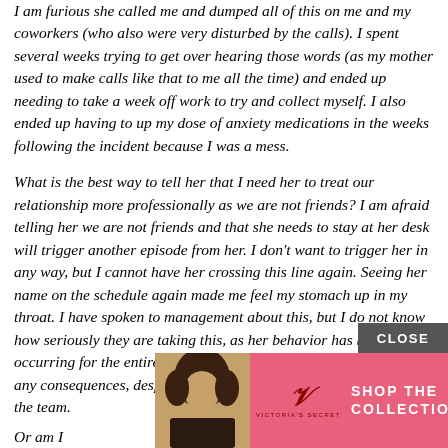I am furious she called me and dumped all of this on me and my coworkers (who also were very disturbed by the calls). I spent several weeks trying to get over hearing those words (as my mother used to make calls like that to me all the time) and ended up needing to take a week off work to try and collect myself. I also ended up having to up my dose of anxiety medications in the weeks following the incident because I was a mess.
What is the best way to tell her that I need her to treat our relationship more professionally as we are not friends? I am afraid telling her we are not friends and that she needs to stay at her desk will trigger another episode from her. I don't want to trigger her in any way, but I cannot have her crossing this line again. Seeing her name on the schedule again made me feel my stomach up in my throat. I have spoken to management about this, but I do not know how seriously they are taking this, as her behavior has been occurring for the entire duration of her employment here without any consequences, despite many complaints from other people on the team.
[Figure (other): Victoria's Secret advertisement banner with a woman model, VS logo, 'SHOP THE COLLECTION' text in white, and a 'SHOP NOW' button in white, with a pink background. A gray 'CLOSE' button appears above the ad.]
Or am I... t being an a...